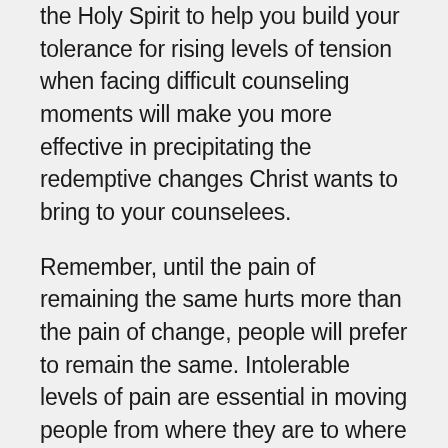the Holy Spirit to help you build your tolerance for rising levels of tension when facing difficult counseling moments will make you more effective in precipitating the redemptive changes Christ wants to bring to your counselees.
Remember, until the pain of remaining the same hurts more than the pain of change, people will prefer to remain the same. Intolerable levels of pain are essential in moving people from where they are to where the Lord wants them to be. Developing a higher tolerance for conflict and stress than your counselees will enable you to move them compassionately through the difficult season of life that prompted them to seek your help. During those uncomfortable moments in this process, it is comforting to